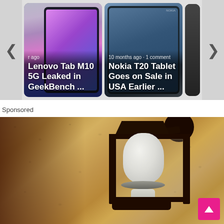[Figure (screenshot): Carousel of article cards. Left card: Lenovo Tab M10 5G Leaked in GeekBench ... Right card: Nokia T20 Tablet Goes on Sale in USA Earlier ... with metadata '10 months ago · 1 comment'. Navigation arrows on both sides.]
Sponsored
[Figure (photo): A sponsored advertisement image showing an outdoor wall lantern mounted on a textured sandy/stone-colored wall, with a white bulb/camera device inside the lantern fixture. A pink 'back to top' arrow button overlays the bottom right.]